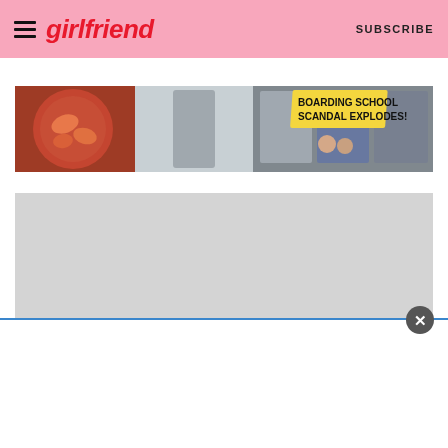girlfriend | SUBSCRIBE
[Figure (photo): Magazine advertisement banner showing food dish on left, magazine covers on right with yellow text 'BOARDING SCHOOL SCANDAL EXPLODES!']
[Figure (screenshot): Large grey placeholder content area]
[Figure (screenshot): White popup overlay at bottom of page with blue top border and close button (x circle)]